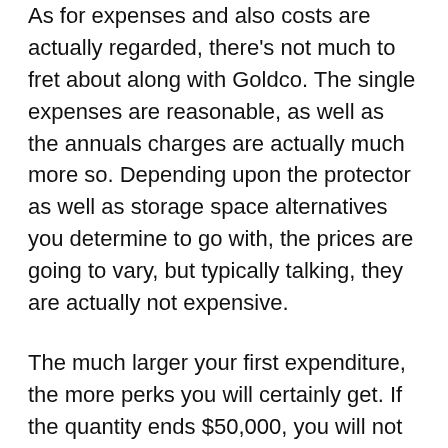As for expenses and also costs are actually regarded, there's not much to fret about along with Goldco. The single expenses are reasonable, as well as the annuals charges are actually much more so. Depending upon the protector as well as storage space alternatives you determine to go with, the prices are going to vary, but typically talking, they are actually not expensive.
The much larger your first expenditure, the more perks you will certainly get. If the quantity ends $50,000, you will not need to pay expenses for the very first year, as well as you will be actually granted a 5% back in gold and silvers that you may include in your individual retirement account. This bargain is outstanding as it is going to fairly actually